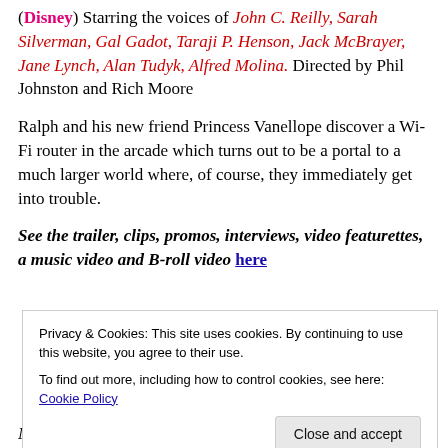(Disney) Starring the voices of John C. Reilly, Sarah Silverman, Gal Gadot, Taraji P. Henson, Jack McBrayer, Jane Lynch, Alan Tudyk, Alfred Molina. Directed by Phil Johnston and Rich Moore
Ralph and his new friend Princess Vanellope discover a Wi-Fi router in the arcade which turns out to be a portal to a much larger world where, of course, they immediately get into trouble.
See the trailer, clips, promos, interviews, video featurettes, a music video and B-roll video here
Privacy & Cookies: This site uses cookies. By continuing to use this website, you agree to their use. To find out more, including how to control cookies, see here: Cookie Policy
Now Playing: Wide Release (Opened Wednesday)